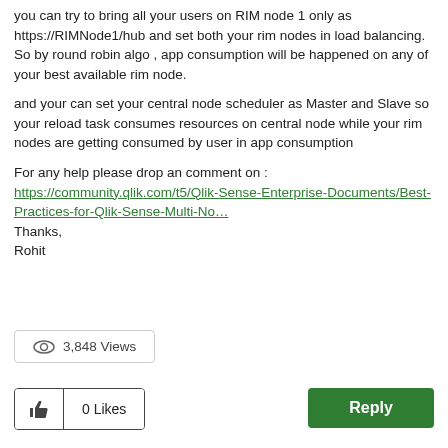you can try to bring all your users on RIM node 1 only as https://RIMNode1/hub and set both your rim nodes in load balancing. So by round robin algo , app consumption will be happened on any of your best available rim node.
and your can set your central node scheduler as Master and Slave so your reload task consumes resources on central node while your rim nodes are getting consumed by user in app consumption
For any help please drop an comment on : https://community.qlik.com/t5/Qlik-Sense-Enterprise-Documents/Best-Practices-for-Qlik-Sense-Multi-No… Thanks, Rohit
3,848 Views
0 Likes
Reply